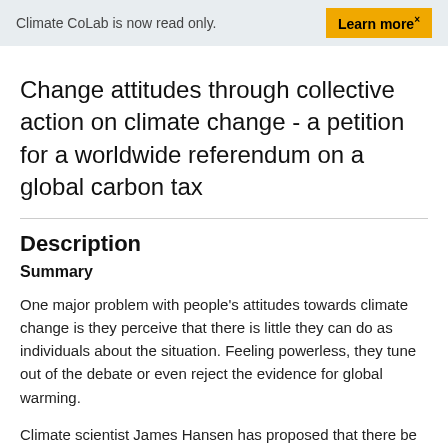Climate CoLab is now read only.   Learn more×
Change attitudes through collective action on climate change - a petition for a worldwide referendum on a global carbon tax
Description
Summary
One major problem with people's attitudes towards climate change is they perceive that there is little they can do as individuals about the situation. Feeling powerless, they tune out of the debate or even reject the evidence for global warming.
Climate scientist James Hansen has proposed that there be a carbon tax or fee on fossil fuels as they are taken out of the ground, with the proceeds to be distributed to everyone. He calls it fee-and-dividend.